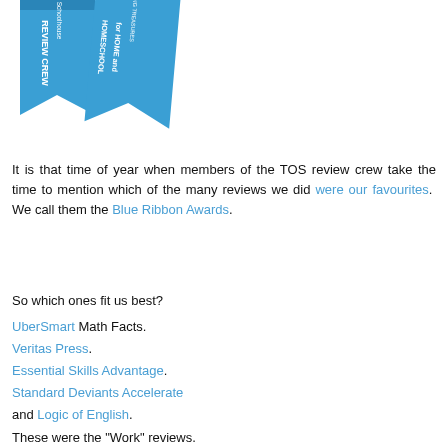[Figure (illustration): Two blue ribbon banners. Left ribbon reads 'The Old Schoolhouse REVIEW CREW'. Right ribbon reads 'Discovering Treasures for HOME and HOMESCHOOL'.]
It is that time of year when members of the TOS review crew take the time to mention which of the many reviews we did were our favourites.  We call them the Blue Ribbon Awards.
So which ones fit us best?
UberSmart Math Facts.
Veritas Press.
Essential Skills Advantage.
Standard Deviants Accelerate
and Logic of English.
These were the "Work" reviews.